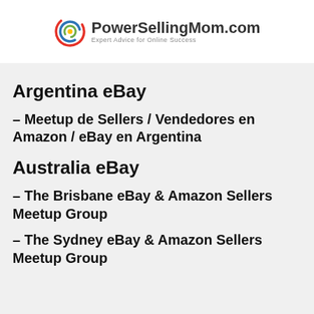PowerSellingMom.com – Expert Advice for Online Success
Argentina eBay
– Meetup de Sellers / Vendedores en Amazon / eBay en Argentina
Australia eBay
– The Brisbane eBay & Amazon Sellers Meetup Group
– The Sydney eBay & Amazon Sellers Meetup Group